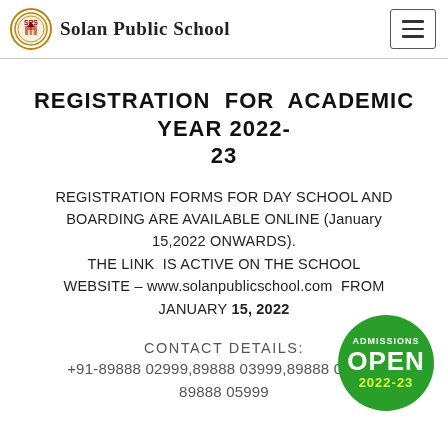Solan Public School
REGISTRATION FOR ACADEMIC YEAR 2022-23
REGISTRATION FORMS FOR DAY SCHOOL AND BOARDING ARE AVAILABLE ONLINE (January 15,2022 ONWARDS). THE LINK IS ACTIVE ON THE SCHOOL WEBSITE – www.solanpublicschool.com FROM JANUARY 15, 2022
[Figure (infographic): Green circular badge reading ADMISSIONS OPEN 2022-23]
CONTACT DETAILS:
+91-89888 02999,89888 03999,89888 04999, 89888 05999